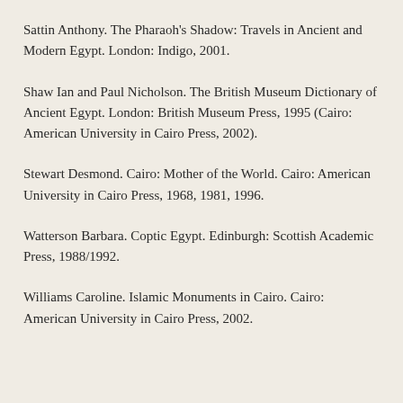Sattin Anthony. The Pharaoh's Shadow: Travels in Ancient and Modern Egypt. London: Indigo, 2001.
Shaw Ian and Paul Nicholson. The British Museum Dictionary of Ancient Egypt. London: British Museum Press, 1995 (Cairo: American University in Cairo Press, 2002).
Stewart Desmond. Cairo: Mother of the World. Cairo: American University in Cairo Press, 1968, 1981, 1996.
Watterson Barbara. Coptic Egypt. Edinburgh: Scottish Academic Press, 1988/1992.
Williams Caroline. Islamic Monuments in Cairo. Cairo: American University in Cairo Press, 2002.